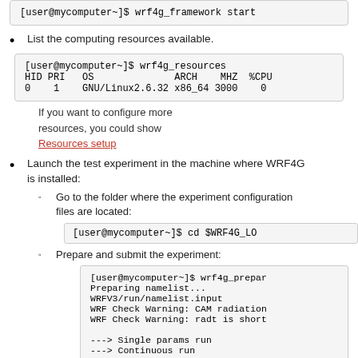[user@mycomputer~]$ wrf4g_framework start
List the computing resources available.
[user@mycomputer~]$ wrf4g_resources
HID PRI   OS              ARCH    MHZ  %CPU
0    1    GNU/Linux2.6.32 x86_64 3000    0
If you want to configure more resources, you could show Resources setup
Launch the test experiment in the machine where WRF4G is installed:
Go to the folder where the experiment configuration files are located:
[user@mycomputer~]$ cd $WRF4G_LO
Prepare and submit the experiment:
[user@mycomputer~]$ wrf4g_prepar
Preparing namelist...
WRFV3/run/namelist.input
WRF Check Warning: CAM radiation
WRF Check Warning: radt is short

---> Single params run
---> Continuous run